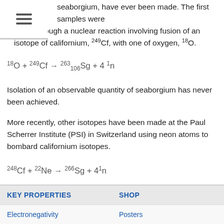≡
seaborgium, have ever been made. The first samples were made through a nuclear reaction involving fusion of an isotope of californium, 249Cf, with one of oxygen, 18O.
Isolation of an observable quantity of seaborgium has never been achieved.
More recently, other isotopes have been made at the Paul Scherrer Institute (PSI) in Switzerland using neon atoms to bombard californium isotopes.
| KEY PROPERTIES | SHOP |
| --- | --- |
| Electronegativity | Posters |